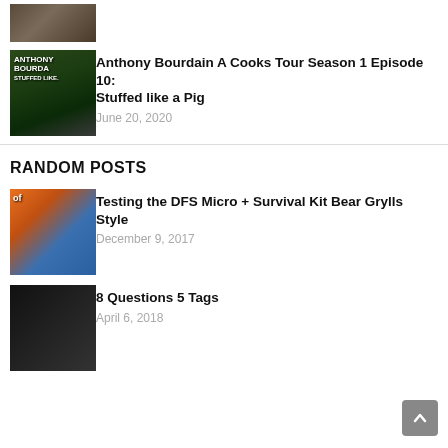[Figure (photo): Crowd photo thumbnail at top]
[Figure (photo): Anthony Bourdain book/show cover thumbnail with green outdoor background]
Anthony Bourdain A Cooks Tour Season 1 Episode 10: Stuffed like a Pig
June 20, 2020
RANDOM POSTS
[Figure (photo): Person in orange hat holding blue package outdoors]
Testing the DFS Micro + Survival Kit Bear Grylls Style
December 9, 2017
[Figure (photo): Person waving indoors with dark background]
8 Questions 5 Tags
April 6, 2018